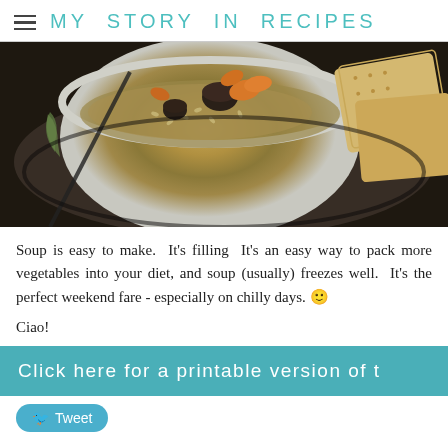MY STORY IN RECIPES
[Figure (photo): Bowl of chicken and barley soup with mushrooms, carrots, and crackers on a plate, viewed from above on a dark surface.]
Soup is easy to make.  It's filling  It's an easy way to pack more vegetables into your diet, and soup (usually) freezes well.  It's the perfect weekend fare - especially on chilly days. 🙂
Ciao!
Click here for a printable version of t
Tweet